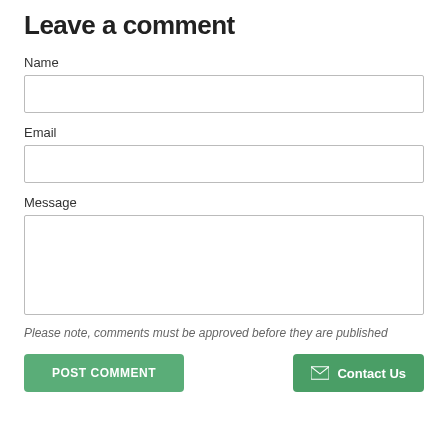Leave a comment
Name
Email
Message
Please note, comments must be approved before they are published
POST COMMENT
Contact Us